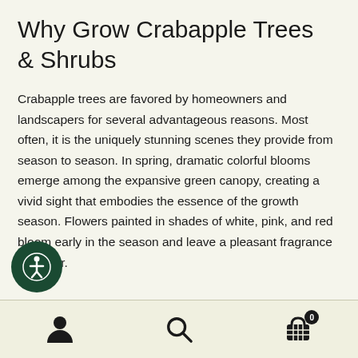Why Grow Crabapple Trees & Shrubs
Crabapple trees are favored by homeowners and landscapers for several advantageous reasons. Most often, it is the uniquely stunning scenes they provide from season to season. In spring, dramatic colorful blooms emerge among the expansive green canopy, creating a vivid sight that embodies the essence of the growth season. Flowers painted in shades of white, pink, and red bloom early in the season and leave a pleasant fragrance in the air.
Navigation bar with user, search, and cart icons